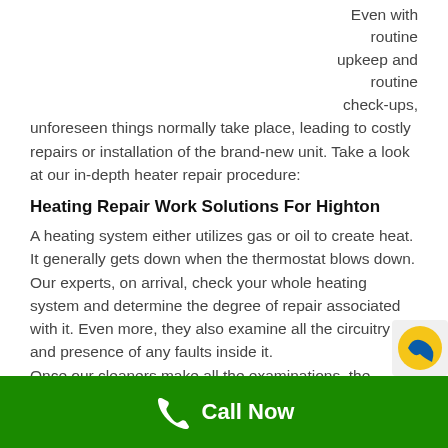Even with routine upkeep and routine check-ups, unforeseen things normally take place, leading to costly repairs or installation of the brand-new unit. Take a look at our in-depth heater repair procedure:
Heating Repair Work Solutions For Highton
A heating system either utilizes gas or oil to create heat. It generally gets down when the thermostat blows down. Our experts, on arrival, check your whole heating system and determine the degree of repair associated with it. Even more, they also examine all the circuitry and presence of any faults inside it.
Once our cleaners make all the examinations, the
Call Now